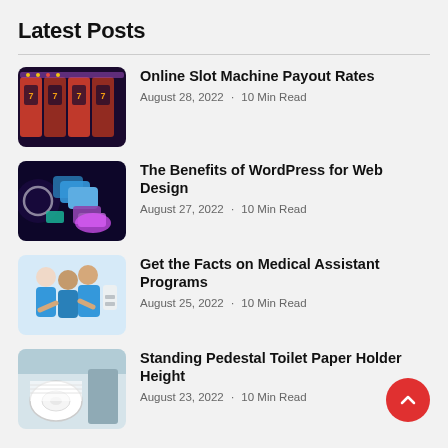Latest Posts
Online Slot Machine Payout Rates · August 28, 2022 · 10 Min Read
The Benefits of WordPress for Web Design · August 27, 2022 · 10 Min Read
Get the Facts on Medical Assistant Programs · August 25, 2022 · 10 Min Read
Standing Pedestal Toilet Paper Holder Height · August 23, 2022 · 10 Min Read